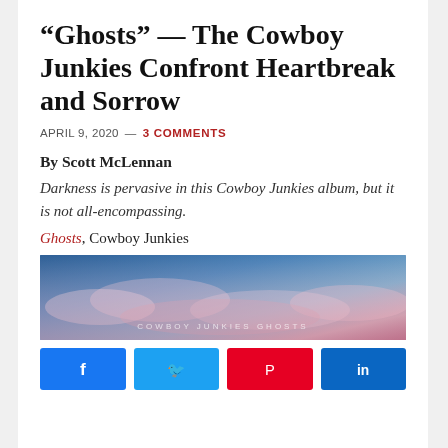“Ghosts” — The Cowboy Junkies Confront Heartbreak and Sorrow
APRIL 9, 2020 — 3 COMMENTS
By Scott McLennan
Darkness is pervasive in this Cowboy Junkies album, but it is not all-encompassing.
Ghosts, Cowboy Junkies
[Figure (photo): Album cover or promotional image for Cowboy Junkies Ghosts — blue and pink cloudy sky with text 'COWBOY JUNKIES GHOSTS' overlaid]
Social share buttons: Facebook, Twitter, Pinterest, LinkedIn